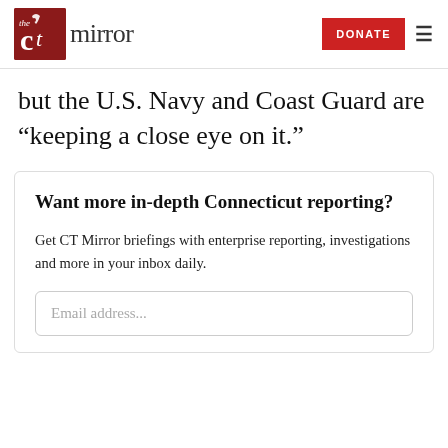CT Mirror — DONATE
but the U.S. Navy and Coast Guard are “keeping a close eye on it.”
Want more in-depth Connecticut reporting?
Get CT Mirror briefings with enterprise reporting, investigations and more in your inbox daily.
Email address...